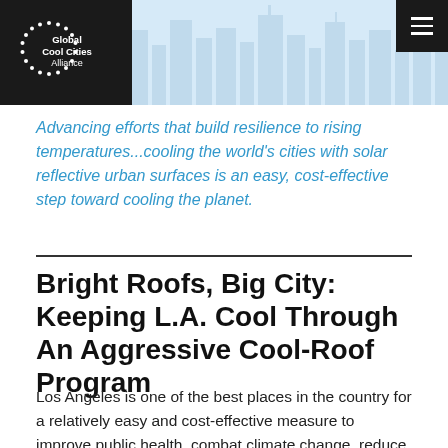[Figure (logo): Global Cool Cities Alliance logo - white dotted circle with text on dark background]
Advancing efforts that build resilience to rising temperatures...cooling the world's cities with solar reflective urban surfaces is an easy, cost-effective step toward cooling the planet.
Bright Roofs, Big City: Keeping L.A. Cool Through An Aggressive Cool-Roof Program
Los Angeles is one of the best places in the country for a relatively easy and cost-effective measure to improve public health, combat climate change, reduce energy